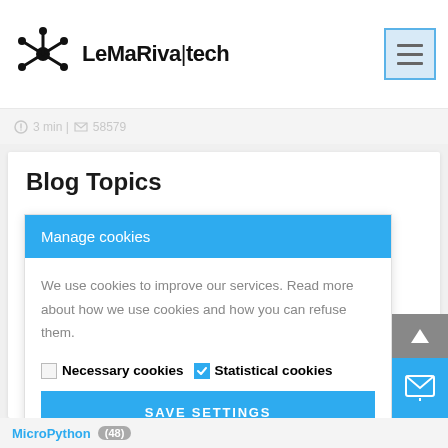[Figure (logo): LeMaRiva|tech logo with molecule/hub icon on the left and bold text]
[Figure (screenshot): Hamburger menu button with blue border]
3 min | 58579
Blog Topics
Manage cookies
We use cookies to improve our services. Read more about how we use cookies and how you can refuse them.
Necessary cookies  Statistical cookies
SAVE SETTINGS
MicroPython (48)